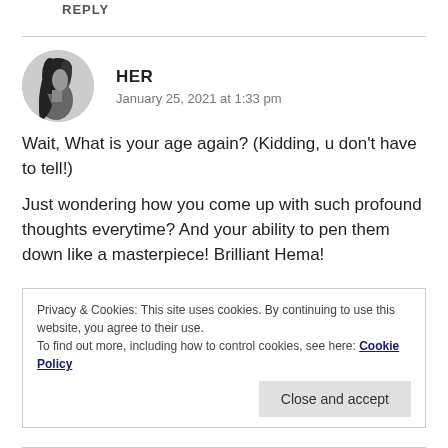REPLY
[Figure (photo): Black and white circular avatar photo of a woman with long dark hair, side profile]
HER
January 25, 2021 at 1:33 pm
Wait, What is your age again? (Kidding, u don't have to tell!)
Just wondering how you come up with such profound thoughts everytime? And your ability to pen them down like a masterpiece! Brilliant Hema!
Privacy & Cookies: This site uses cookies. By continuing to use this website, you agree to their use.
To find out more, including how to control cookies, see here: Cookie Policy
Close and accept